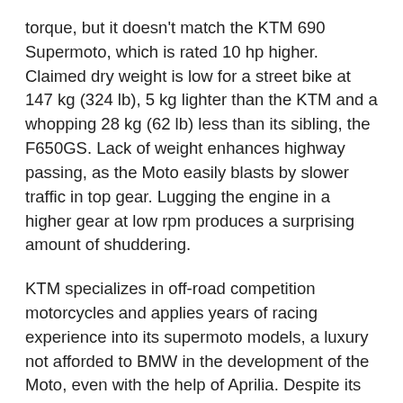torque, but it doesn't match the KTM 690 Supermoto, which is rated 10 hp higher. Claimed dry weight is low for a street bike at 147 kg (324 lb), 5 kg lighter than the KTM and a whopping 28 kg (62 lb) less than its sibling, the F650GS. Lack of weight enhances highway passing, as the Moto easily blasts by slower traffic in top gear. Lugging the engine in a higher gear at low rpm produces a surprising amount of shuddering.
KTM specializes in off-road competition motorcycles and applies years of racing experience into its supermoto models, a luxury not afforded to BMW in the development of the Moto, even with the help of Aprilia. Despite its racing background, KTM finally learned that street motorcycles, even narrowly focused ones like supermotos, should offer at least some measure of rider comfort. After initial complaints of jarring vibration on its 625 SM models, the 690 gained the vibration damping